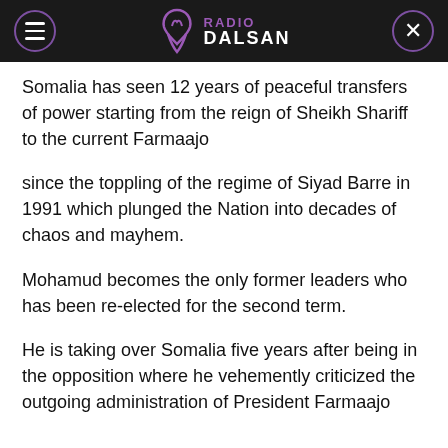Radio Dalsan
Somalia has seen 12 years of peaceful transfers of power starting from the reign of Sheikh Shariff to the current Farmaajo
since the toppling of the regime of Siyad Barre in 1991 which plunged the Nation into decades of chaos and mayhem.
Mohamud becomes the only former leaders who has been re-elected for the second term.
He is taking over Somalia five years after being in the opposition where he vehemently criticized the outgoing administration of President Farmaajo